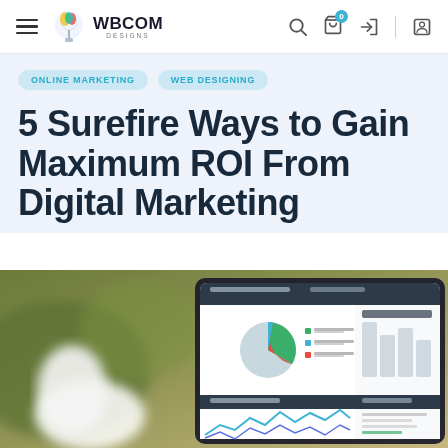WBCOM DESIGNS navigation bar with hamburger menu, logo, search, cart, login, and profile icons
ONLINE MARKETING
WEB DESIGNING
5 Surefire Ways to Gain Maximum ROI From Digital Marketing
[Figure (photo): A tablet displaying a digital marketing analytics dashboard with pie chart and line chart, next to a white coffee cup, on a blurred outdoor background.]